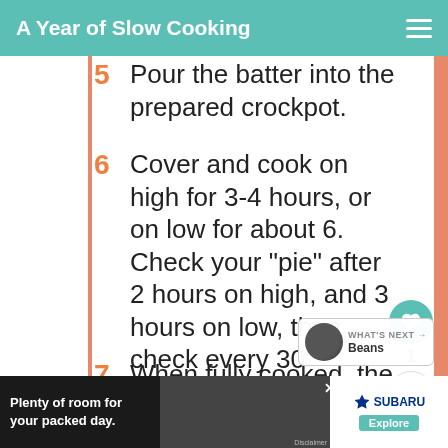A Year of Slow Cooking
5  Pour the batter into the prepared crockpot.
6  Cover and cook on high for 3-4 hours, or on low for about 6. Check your "pie" after 2 hours on high, and 3 hours on low, then check every 30 minutes.
7  When fully cooked, the will look just like a finished
[Figure (screenshot): Subaru advertisement banner at bottom of page reading 'Plenty of room for your packed day.' with Explore button]